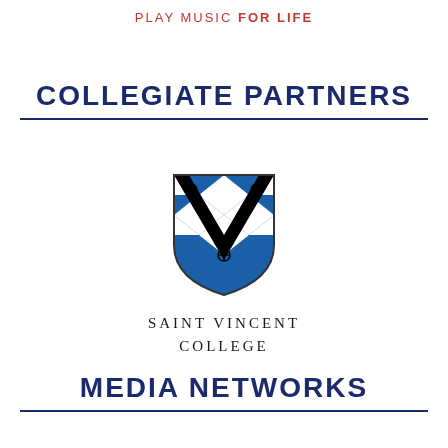PLAY MUSIC FOR LIFE
COLLEGIATE PARTNERS
[Figure (logo): Saint Vincent College shield logo with blue and white diamond pattern and black chevron, with text 'Saint Vincent College' below in spaced serif capitals]
MEDIA NETWORKS